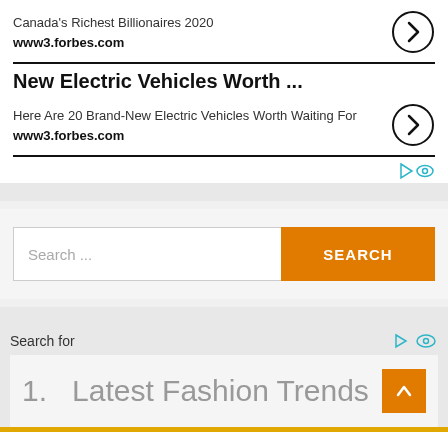Canada's Richest Billionaires 2020
www3.forbes.com
New Electric Vehicles Worth ...
Here Are 20 Brand-New Electric Vehicles Worth Waiting For
www3.forbes.com
[Figure (screenshot): Search box with placeholder text 'Search ...' and orange SEARCH button]
Search for
1.  Latest Fashion Trends